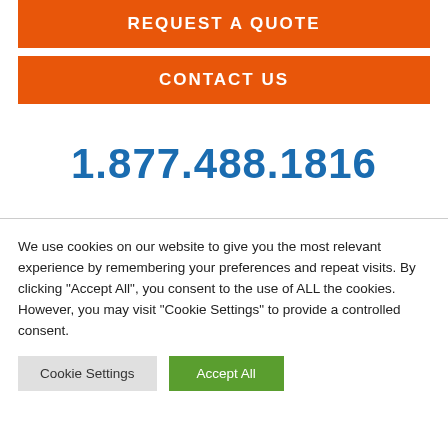REQUEST A QUOTE
CONTACT US
1.877.488.1816
We use cookies on our website to give you the most relevant experience by remembering your preferences and repeat visits. By clicking "Accept All", you consent to the use of ALL the cookies. However, you may visit "Cookie Settings" to provide a controlled consent.
Cookie Settings
Accept All